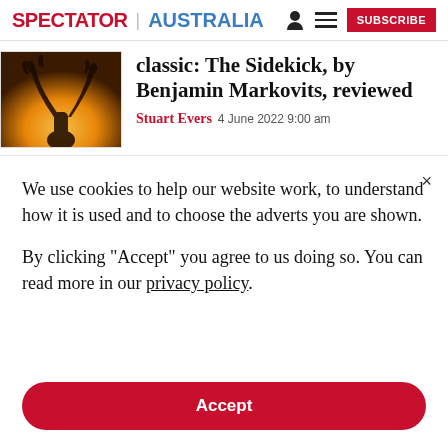SPECTATOR | AUSTRALIA
[Figure (photo): Dark silhouette of raised hands against warm golden background]
classic: The Sidekick, by Benjamin Markovits, reviewed
Stuart Evers 4 June 2022 9:00 am
We use cookies to help our website work, to understand how it is used and to choose the adverts you are shown.
By clicking "Accept" you agree to us doing so. You can read more in our privacy policy.
Accept